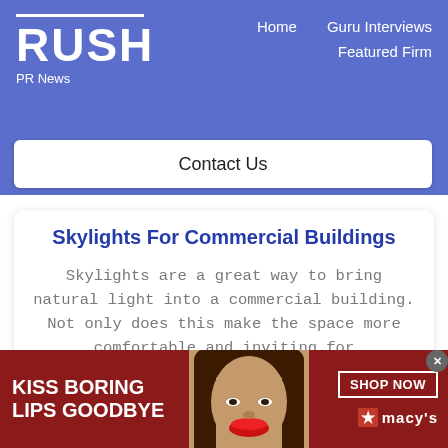RUSH PR News — Home | Guru Interviews | Featured Firm
Contact Us
Skylights For Commercial Buildings
Skylights are a great way to bring natural light into a commercial building. Not only does this make the space more comfortable and inviting for
[Figure (photo): Macy's advertisement banner with red background. Left side text reads KISS BORING LIPS GOODBYE. Center shows a close-up photo of a woman's face with red lips. Right side has SHOP NOW button and Macy's logo with star.]